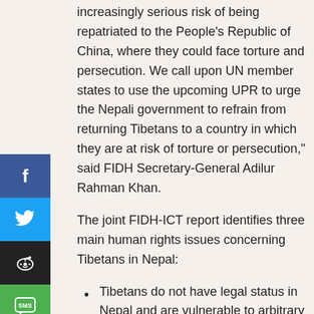increasingly serious risk of being repatriated to the People's Republic of China, where they could face torture and persecution. We call upon UN member states to use the upcoming UPR to urge the Nepali government to refrain from returning Tibetans to a country in which they are at risk of torture or persecution," said FIDH Secretary-General Adilur Rahman Khan.
The joint FIDH-ICT report identifies three main human rights issues concerning Tibetans in Nepal:
Tibetans do not have legal status in Nepal and are vulnerable to arbitrary restrictions of their rights. The more than 20,000 Tibetans